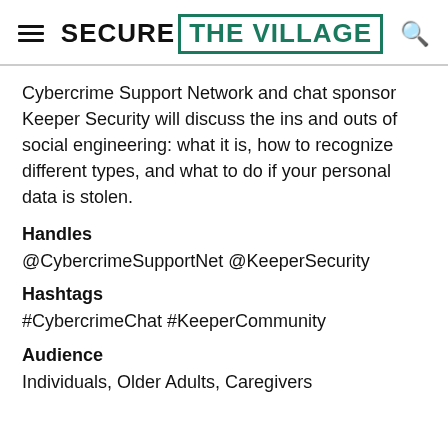SECURE THE VILLAGE
Cybercrime Support Network and chat sponsor Keeper Security will discuss the ins and outs of social engineering: what it is, how to recognize different types, and what to do if your personal data is stolen.
Handles
@CybercrimeSupportNet @KeeperSecurity
Hashtags
#CybercrimeChat #KeeperCommunity
Audience
Individuals, Older Adults, Caregivers